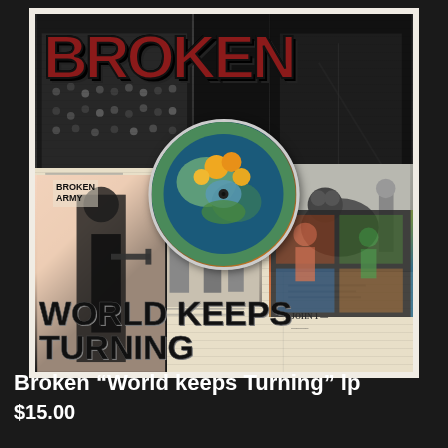[Figure (photo): Album cover for 'Broken - World Keeps Turning LP'. A square vinyl record album cover with a collage design. The top portion shows the word BROKEN in large dark red graffiti-style lettering against a black background with crowd photos. The middle section is a newspaper collage with various clippings, a circular vinyl/illustration insert in the center showing flowers and natural imagery, text reading 'BROKEN ARMY' on the left side, 'PATO' and 'JOHN' on the right side. The bottom of the album reads 'WORLD KEEPS TURNING' in large black block letters. The left bottom shows a figure, bottom right shows colorful imagery.]
Broken “World keeps Turning” lp
$15.00